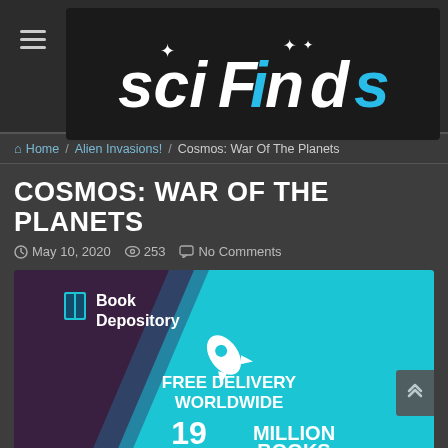[Figure (logo): SciFinds website logo — stylized white and cyan text 'sciFinds' with stars, on dark background]
Home / Alien Invasions! / Cosmos: War Of The Planets
COSMOS: WAR OF THE PLANETS
May 10, 2020  253  No Comments
[Figure (illustration): Book Depository advertisement banner: purple and cyan diagonal design with rocket icon, text 'FREE DELIVERY WORLDWIDE' and '19 MILLION BOOKS']